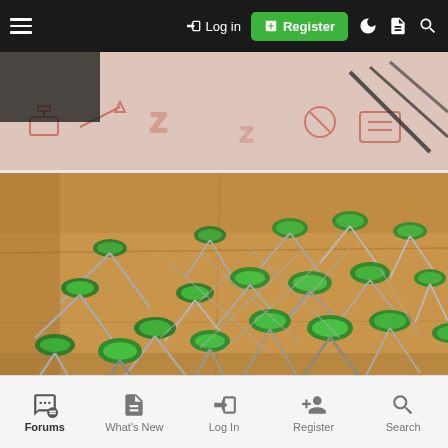[Figure (screenshot): Mobile forum website screenshot showing a navigation bar at top with hamburger menu, Log in link, green Register button, and icons. Below are two photos: top photo shows a red/white patterned fabric with dark objects, bottom photo shows a cardboard box full of green plastic push pins/thumb tacks with metal shafts. Bottom of screen shows mobile navigation tabs: Forums, What's New, Log In, Register, Search.]
Forums  What's New  Log In  Register  Search